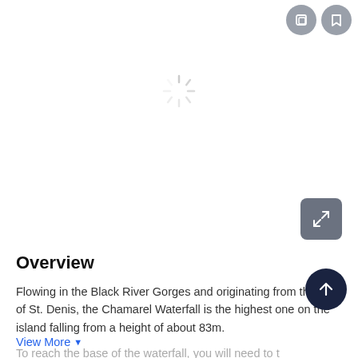[Figure (screenshot): Loading spinner / image placeholder area with two circular icon buttons (share and bookmark) in the top right, a loading spinner in the center of the image area, and an expand/fullscreen button in the bottom right of the image region.]
Overview
Flowing in the Black River Gorges and originating from the river of St. Denis, the Chamarel Waterfall is the highest one on the island falling from a height of about 83m.
To reach the base of the waterfall, you will need to take an adventurous yet fun hike through the untouched tropical
View More ▾